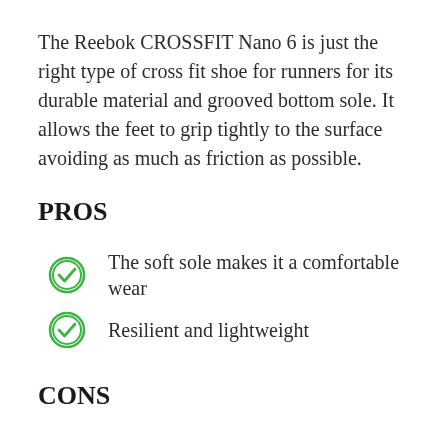The Reebok CROSSFIT Nano 6 is just the right type of cross fit shoe for runners for its durable material and grooved bottom sole. It allows the feet to grip tightly to the surface avoiding as much as friction as possible.
PROS
The soft sole makes it a comfortable wear
Resilient and lightweight
CONS